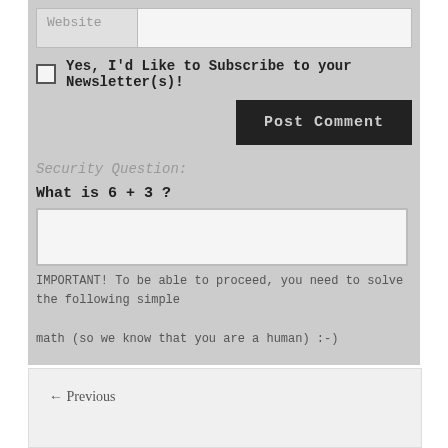Website
Yes, I'd Like to Subscribe to your Newsletter(s)!
Post Comment
Security Question:
What is 6 + 3 ?
IMPORTANT! To be able to proceed, you need to solve the following simple math (so we know that you are a human) :-)
← Previous